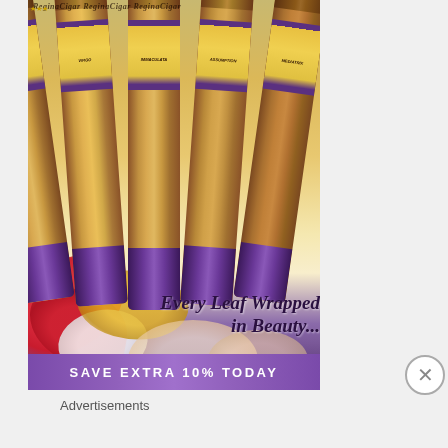[Figure (photo): Advertisement image showing a fan of cigars with decorative religious/feminine figure bands labeled 'MATER DEI', 'VIRGO', 'IMMACULATA', 'ASSUMPTION', 'MEDIATRIX', decorated with purple ribbon bottoms and rose petals in the background. Text reads 'Every Leaf Wrapped in Beauty...' with a purple banner at the bottom reading 'SAVE EXTRA 10% TODAY'.]
Advertisements